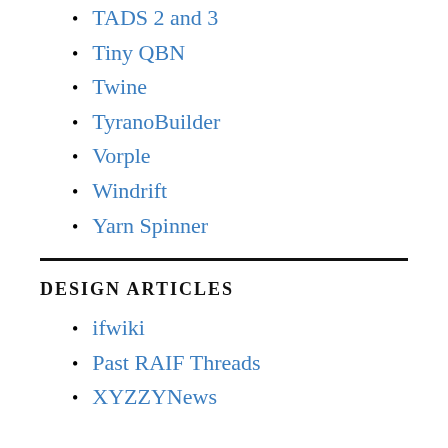TADS 2 and 3
Tiny QBN
Twine
TyranoBuilder
Vorple
Windrift
Yarn Spinner
DESIGN ARTICLES
ifwiki
Past RAIF Threads
XYZZYNews